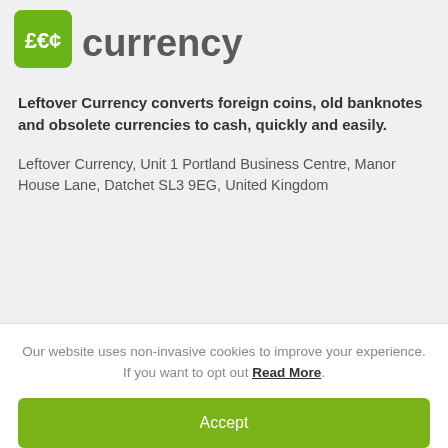[Figure (logo): Leftover Currency logo — green square icon with £€¢ symbols and 'leftover currency' text in grey]
Leftover Currency converts foreign coins, old banknotes and obsolete currencies to cash, quickly and easily.
Leftover Currency, Unit 1 Portland Business Centre, Manor House Lane, Datchet SL3 9EG, United Kingdom
Get in touch
Our website uses non-invasive cookies to improve your experience. If you want to opt out Read More.
Accept